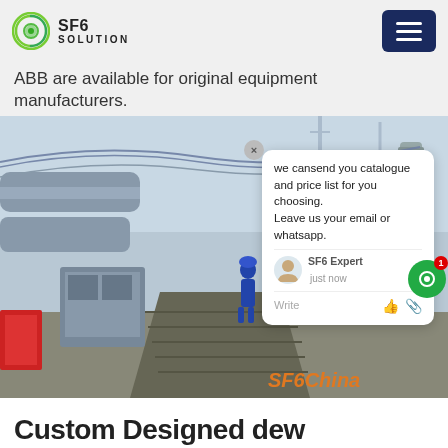SF6 SOLUTION
ABB are available for original equipment manufacturers.
[Figure (photo): Electrical substation with high-voltage equipment, pipes, cables, and a worker in blue coveralls standing on a walkway. SF6China watermark visible. Chat popup overlay showing message about catalogue and price list.]
Custom Designed dew